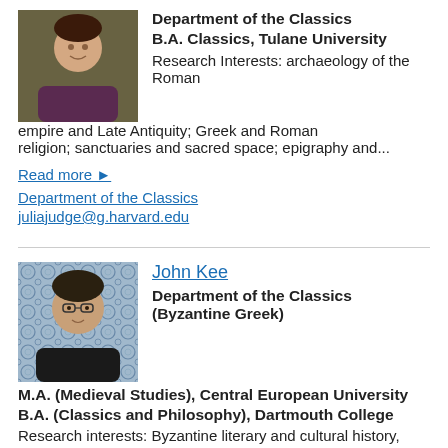[Figure (photo): Profile photo of a woman smiling, wearing a dark top, outdoors with green foliage background]
Department of the Classics
B.A. Classics, Tulane University
Research Interests: archaeology of the Roman empire and Late Antiquity; Greek and Roman religion; sanctuaries and sacred space; epigraphy and...
Read more ▶
Department of the Classics
juliajudge@g.harvard.edu
John Kee
[Figure (photo): Profile photo of a man with glasses wearing a dark shirt, in front of a decorative tiled background]
Department of the Classics (Byzantine Greek)
M.A. (Medieval Studies), Central European University
B.A. (Classics and Philosophy), Dartmouth College
Research interests: Byzantine literary and cultural history,